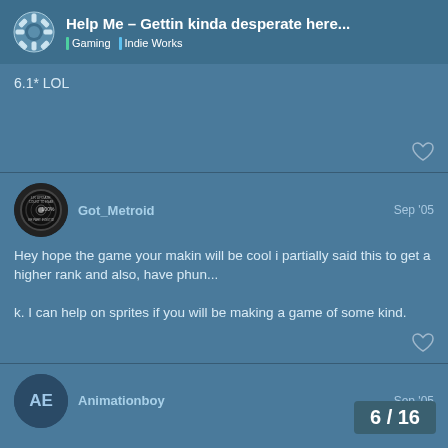Help Me – Gettin kinda desperate here... | Gaming | Indie Works
6.1* LOL
Got_Metroid
Sep '05
Hey hope the game your makin will be cool i partially said this to get a higher rank and also, have phun...

k. I can help on sprites if you will be making a game of some kind.
Animationboy
Sep '05
6 / 16